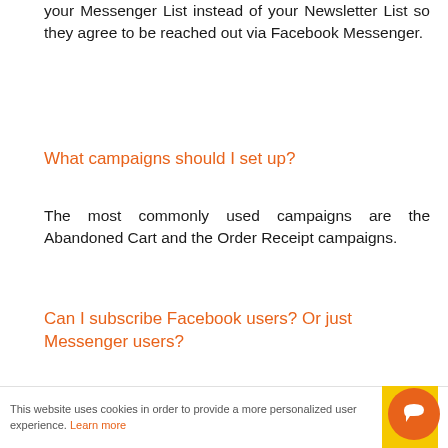your Messenger List instead of your Newsletter List so they agree to be reached out via Facebook Messenger.
What campaigns should I set up?
The most commonly used campaigns are the Abandoned Cart and the Order Receipt campaigns.
Can I subscribe Facebook users? Or just Messenger users?
Absolutely! You can subscribe both Facebook
This website uses cookies in order to provide a more personalized user experience. Learn more